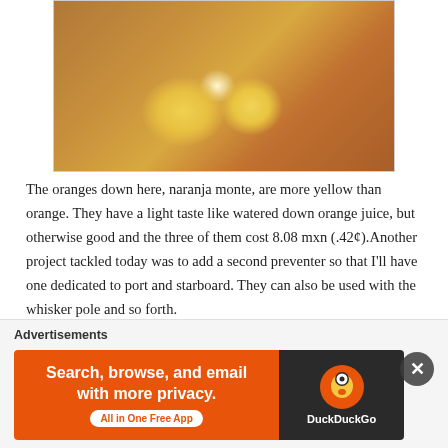[Figure (photo): Overhead photo of cut oranges (naranja monte) on a patterned cloth/napkin with a knife, showing yellow-orange flesh. Whole oranges visible in background.]
The oranges down here, naranja monte, are more yellow than orange. They have a light taste like watered down orange juice, but otherwise good and the three of them cost 8.08 mxn (.42¢).Another project tackled today was to add a second preventer so that I'll have one dedicated to port and starboard. They can also be used with the whisker pole and so forth.
[Figure (photo): Partial photo of reddish-pink fabric/cloth with metal rings, partially obscured by a black rectangle on the right.]
Advertisements
[Figure (screenshot): DuckDuckGo advertisement banner: orange background on left with text 'Search, browse, and email with more privacy. All in One Free App' and DuckDuckGo logo on dark right panel.]